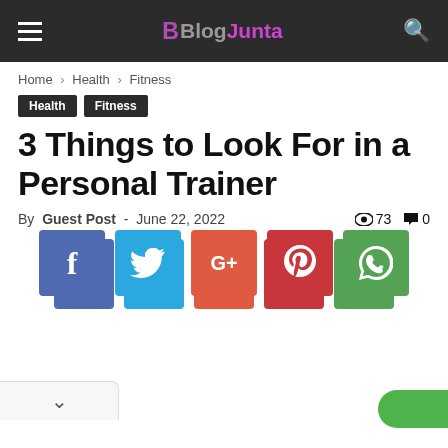BlogJunta
Home › Health › Fitness
Health  Fitness
3 Things to Look For in a Personal Trainer
By Guest Post - June 22, 2022  👁 73  💬 0
[Figure (infographic): Social share buttons: Facebook (blue), Twitter (light blue), Google+ (red-orange), Pinterest (dark red), WhatsApp (green)]